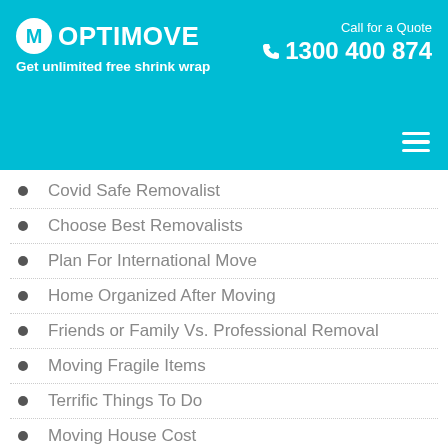OPTIMOVE — Get unlimited free shrink wrap | Call for a Quote 1300 400 874
Covid Safe Removalist
Choose Best Removalists
Plan For International Move
Home Organized After Moving
Friends or Family Vs. Professional Removal
Moving Fragile Items
Terrific Things To Do
Moving House Cost
Tips for Settling Your Pet
How to Prepare Your Pet